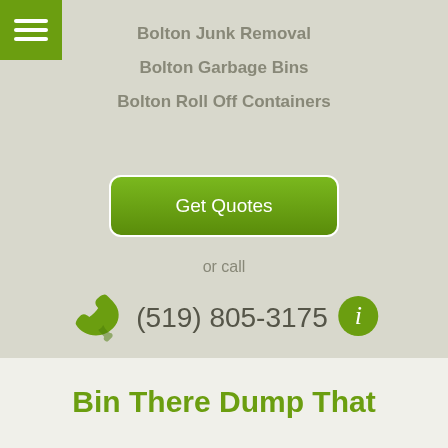[Figure (other): Green hamburger menu button icon in top-left corner]
Bolton Junk Removal
Bolton Garbage Bins
Bolton Roll Off Containers
[Figure (other): Green rounded rectangle button labeled Get Quotes]
or call
[Figure (other): Green telephone handset icon and green info circle icon flanking the phone number (519) 805-3175]
(519) 805-3175
Bin There Dump That